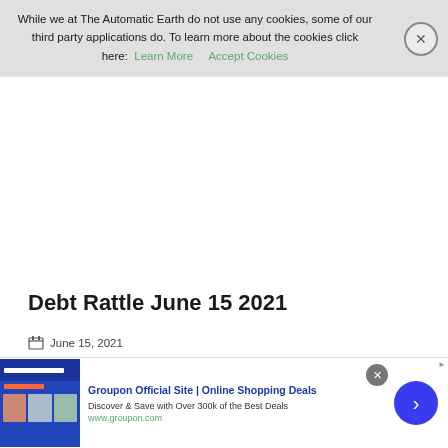While we at The Automatic Earth do not use any cookies, some of our third party applications do. To learn more about the cookies click here: Learn More   Accept Cookies
Debt Rattle June 15 2021
June 15, 2021
Posted by Raúl Ilargi Meijer at 8:47 am
[Figure (screenshot): Advertisement banner for Groupon Official Site | Online Shopping Deals with thumbnail image and blue arrow button]